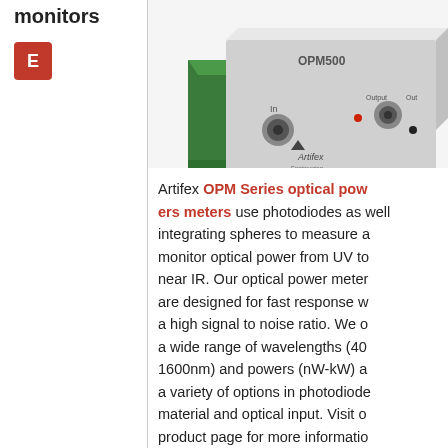monitors
E
[Figure (photo): Photo of the Artifex OPM500 optical power meter device — a small grey and green metal box with BNC connectors and the Artifex logo on the front face.]
Artifex OPM Series optical power meters use photodiodes as well as integrating spheres to measure and monitor optical power from UV to near IR. Our optical power meters are designed for fast response with a high signal to noise ratio. We offer a wide range of wavelengths (400-1600nm) and powers (nW-kW) and a variety of options in photodiode material and optical input. Visit our product page for more information.